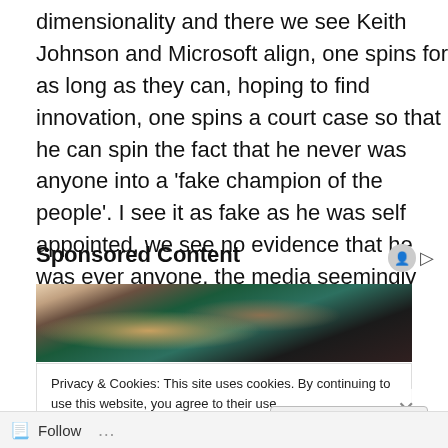dimensionality and there we see Keith Johnson and Microsoft align, one spins for as long as they can, hoping to find innovation, one spins a court case so that he can spin the fact that he never was anyone into a ‘fake champion of the people’. I see it as fake as he was self appointed, we see no evidence that he was ever anyone, the media seemingly has nothing. Do they?
Sponsored Content
[Figure (photo): A dark photo of people, possibly in a formal or political setting, with blurred figures visible.]
Privacy & Cookies: This site uses cookies. By continuing to use this website, you agree to their use.
To find out more, including how to control cookies, see here: Cookie Policy
Close and accept
Follow